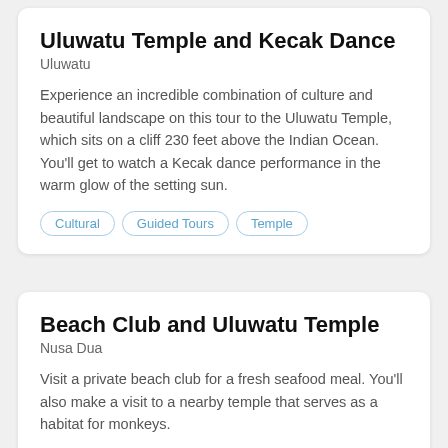Uluwatu Temple and Kecak Dance
Uluwatu
Experience an incredible combination of culture and beautiful landscape on this tour to the Uluwatu Temple, which sits on a cliff 230 feet above the Indian Ocean. You'll get to watch a Kecak dance performance in the warm glow of the setting sun.
Cultural
Guided Tours
Temple
Beach Club and Uluwatu Temple
Nusa Dua
Visit a private beach club for a fresh seafood meal. You'll also make a visit to a nearby temple that serves as a habitat for monkeys.
Beach Trip
Snorkeling
Temple